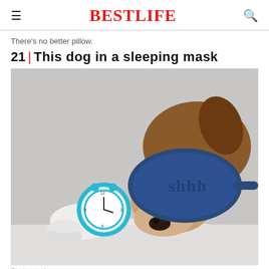BestLife
There's no better pillow.
21 | This dog in a sleeping mask
[Figure (photo): A dog lying down wearing a dark blue sleeping mask with 'shhh' text on it, with a light blue alarm clock next to its white paw, on a white bed against a light grey background.]
Shutterstock